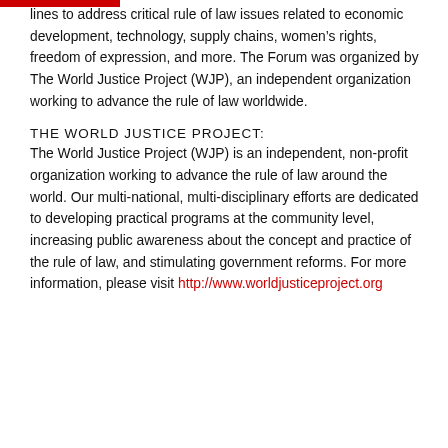lines to address critical rule of law issues related to economic development, technology, supply chains, women’s rights, freedom of expression, and more. The Forum was organized by The World Justice Project (WJP), an independent organization working to advance the rule of law worldwide.
THE WORLD JUSTICE PROJECT:
The World Justice Project (WJP) is an independent, non-profit organization working to advance the rule of law around the world. Our multi-national, multi-disciplinary efforts are dedicated to developing practical programs at the community level, increasing public awareness about the concept and practice of the rule of law, and stimulating government reforms. For more information, please visit http://www.worldjusticeproject.org